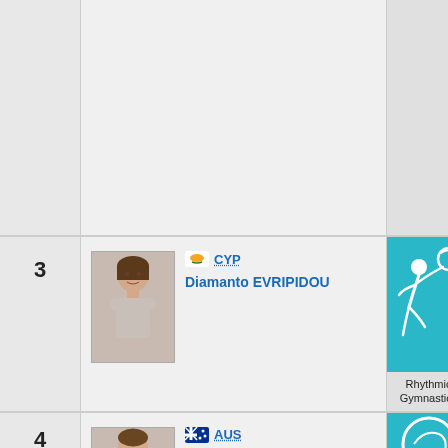| # | Athlete | Sport | Events |
| --- | --- | --- | --- |
| (partial) | (partial) | Men's Parallel B... | Men's Ri... |
| 3 | CYP Diamanto EVRIPIDOU | Rhythmic Gymnastics | Ball, Hoop, Individual Around, Team, Ribbon, Clubs |
| 4 | AUS (partial) | (partial) | Men's 200 Freestyle (partial) |